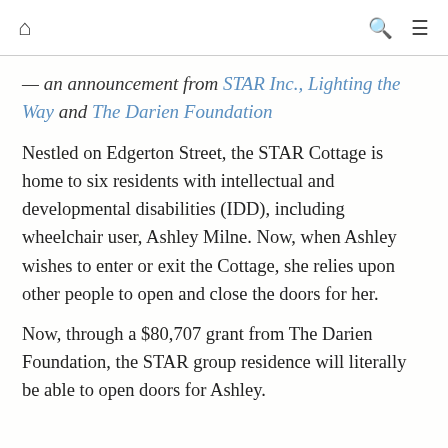🏠   🔍  ☰
— an announcement from STAR Inc., Lighting the Way and The Darien Foundation
Nestled on Edgerton Street, the STAR Cottage is home to six residents with intellectual and developmental disabilities (IDD), including wheelchair user, Ashley Milne. Now, when Ashley wishes to enter or exit the Cottage, she relies upon other people to open and close the doors for her.
Now, through a $80,707 grant from The Darien Foundation, the STAR group residence will literally be able to open doors for Ashley.